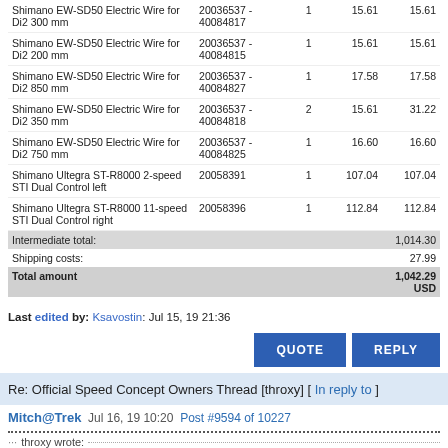| Description | SKU | Qty | Price | Total |
| --- | --- | --- | --- | --- |
| Shimano EW-SD50 Electric Wire for Di2 300 mm | 20036537 - 40084817 | 1 | 15.61 | 15.61 |
| Shimano EW-SD50 Electric Wire for Di2 200 mm | 20036537 - 40084815 | 1 | 15.61 | 15.61 |
| Shimano EW-SD50 Electric Wire for Di2 850 mm | 20036537 - 40084827 | 1 | 17.58 | 17.58 |
| Shimano EW-SD50 Electric Wire for Di2 350 mm | 20036537 - 40084818 | 2 | 15.61 | 31.22 |
| Shimano EW-SD50 Electric Wire for Di2 750 mm | 20036537 - 40084825 | 1 | 16.60 | 16.60 |
| Shimano Ultegra ST-R8000 2-speed STI Dual Control left | 20058391 | 1 | 107.04 | 107.04 |
| Shimano Ultegra ST-R8000 11-speed STI Dual Control right | 20058396 | 1 | 112.84 | 112.84 |
| Intermediate total: |  |  |  | 1,014.30 |
| Shipping costs: |  |  |  | 27.99 |
| Total amount |  |  |  | 1,042.29 USD |
Last edited by: Ksavostin: Jul 15, 19 21:36
Re: Official Speed Concept Owners Thread [throxy] [ In reply to ]
Mitch@Trek  Jul 16, 19 10:20  Post #9594 of 10227
throxy wrote: